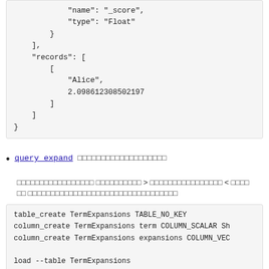"name": "_score",
            "type": "Float"
        }
    ],
    "records": [
        [
            "Alice",
            2.098612308502197
        ]
    ]
}
query_expand [Japanese text]
[Japanese text] > [Japanese text] < [Japanese text] [Japanese text]
table_create TermExpansions TABLE_NO_KEY
column_create TermExpansions term COLUMN_SCALAR Sh
column_create TermExpansions expansions COLUMN_VEC

load --table TermExpansions
[
{"term": "Rroonga", "expansions": ["Rroonga", "Rub
]